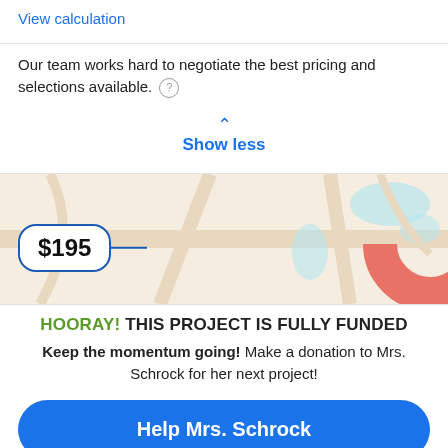View calculation
Our team works hard to negotiate the best pricing and selections available.
Show less
[Figure (map): Map background with a price bubble showing $195 and a red location pin marker]
HOORAY! THIS PROJECT IS FULLY FUNDED
Keep the momentum going! Make a donation to Mrs. Schrock for her next project!
Help Mrs. Schrock